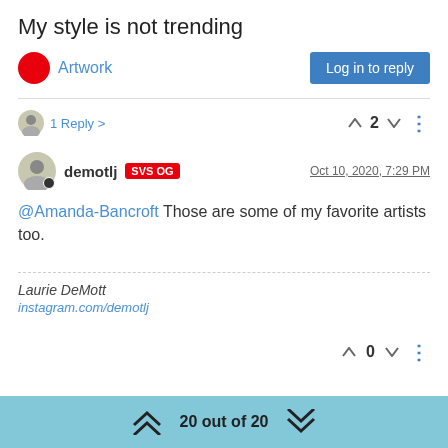My style is not trending
Artwork | Log in to reply
1 Reply >  2
demotlj SVS OG  Oct 10, 2020, 7:29 PM
@Amanda-Bancroft Those are some of my favorite artists too.
Laurie DeMott
instagram.com/demotlj
0
20 out of 20